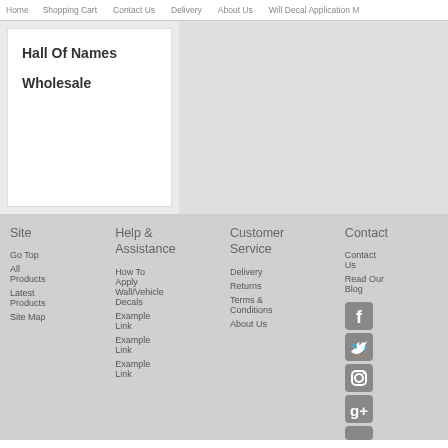Home  Shopping Cart  Contact Us  Delivery  About Us  Will Decal Application M
Hall Of Names Wholesale
[Figure (illustration): Decorative banner/background image area with faded texture]
Site
Go Top
All Products
Latest Products
Site Map
Help & Assistance
How To Apply Wall/Vehicle Decals
Example Link
Example Link
Example Link
Customer Service
Delivery
Returns
Terms & Conditions
About Us
Contact
Contact Us
Read Our Blog
[Figure (illustration): Social media icons: Facebook, Twitter, Instagram, Google+, and one more partially visible]